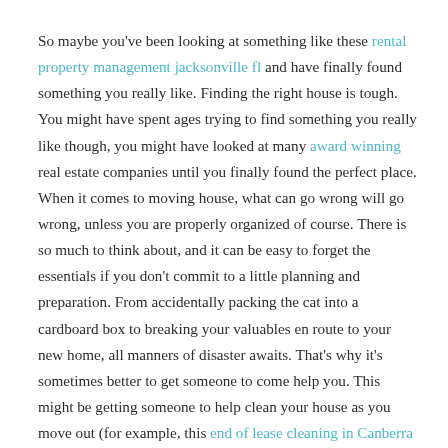So maybe you've been looking at something like these rental property management jacksonville fl and have finally found something you really like. Finding the right house is tough. You might have spent ages trying to find something you really like though, you might have looked at many award winning real estate companies until you finally found the perfect place. When it comes to moving house, what can go wrong will go wrong, unless you are properly organized of course. There is so much to think about, and it can be easy to forget the essentials if you don't commit to a little planning and preparation. From accidentally packing the cat into a cardboard box to breaking your valuables en route to your new home, all manners of disaster awaits. That's why it's sometimes better to get someone to come help you. This might be getting someone to help clean your house as you move out (for example, this end of lease cleaning in Canberra company), or just having a friend there to give you a helping hand. Thankfully, we are here to help. Here are some tips and tricks to ensure your house move goes as smoothly as possible.